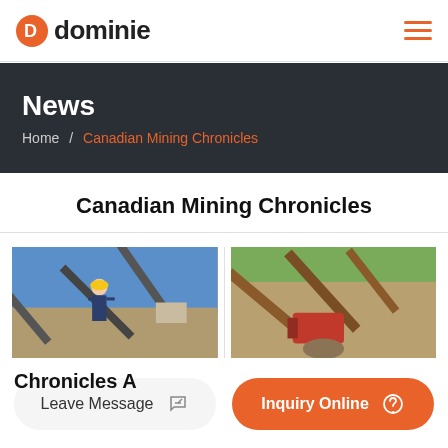dominie
News
Home / Canadian Mining Chronicles
Canadian Mining Chronicles
[Figure (photo): Person in hard hat standing in front of mining conveyor belt equipment against blue sky]
[Figure (photo): Mining equipment and conveyor belts at outdoor mine site]
Chronicles A
Leave Message
Inquiry Online